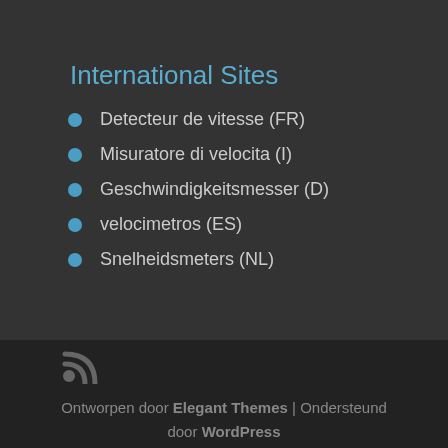International Sites
Detecteur de vitesse (FR)
Misuratore di velocita (I)
Geschwindigkeitsmesser (D)
velocimetros (ES)
Snelheidsmeters (NL)
Ontworpen door Elegant Themes | Ondersteund door WordPress